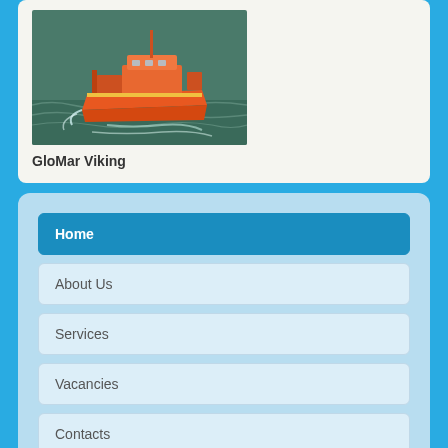[Figure (photo): Orange supply/research vessel at sea, aerial/angled view, vessel underway in dark green water]
GloMar Viking
Home
About Us
Services
Vacancies
Contacts
© 2022 Romanov Crewing Agency
Back to Top